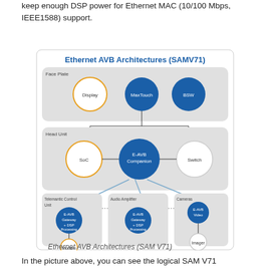keep enough DSP power for Ethernet MAC (10/100 Mbps, IEEE1588) support.
[Figure (network-graph): Ethernet AVB Architectures (SAMV71) diagram showing a hierarchical network of nodes: Face Plate layer with Display (circle), MaxTouch (filled blue circle), BSW (filled blue circle); Head Unit layer with SoC (circle), E-AVB Companion (filled blue circle), Switch (circle); and three bottom sections: Telemantic Control Unit with E-AVB Gateway + DSP Processing (filled blue), Modem (circle); Audio Amplifier with E-AVB Gateway + DSP Processing (filled blue); Cameras with E-AVB Video (filled blue), Imager (circle). Nodes connected by lines.]
Ethernet AVB Architectures (SAM V71)
In the picture above, you can see the logical SAM V71